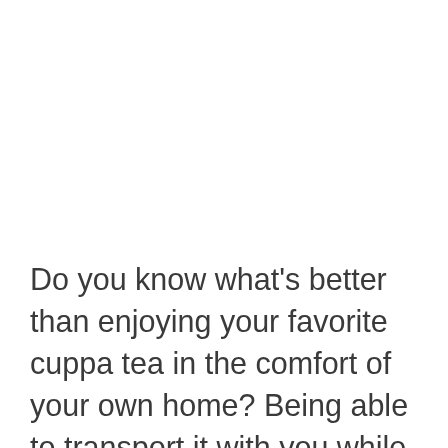Do you know what's better than enjoying your favorite cuppa tea in the comfort of your own home? Being able to transport it with you while on the go! Surprise your tea guests with a handmade tea cozy! Not only is this gift a practical present for a tea lover, but it ensures that your gal pals will always keep your friendship top of